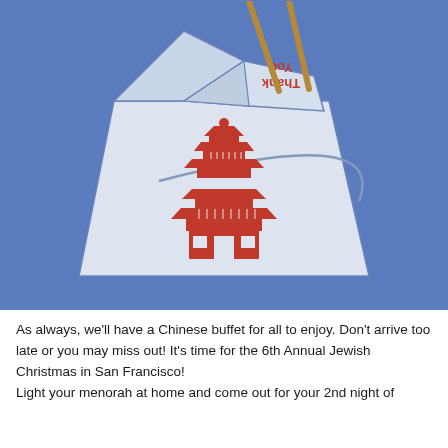[Figure (illustration): Illustration of a Chinese takeout box (white with blue outline) containing chopsticks, with a red pagoda/temple logo on the front and 'Thank You' text (upside down) on the flap, set against a blue background.]
As always, we'll have a Chinese buffet for all to enjoy. Don't arrive too late or you may miss out! It's time for the 6th Annual Jewish Christmas in San Francisco!
Light your menorah at home and come out for your 2nd night of